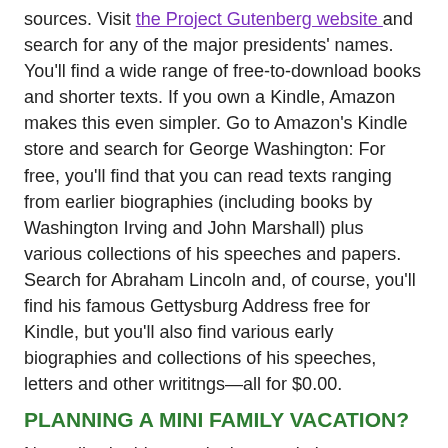sources. Visit the Project Gutenberg website and search for any of the major presidents' names. You'll find a wide range of free-to-download books and shorter texts. If you own a Kindle, Amazon makes this even simpler. Go to Amazon's Kindle store and search for George Washington: For free, you'll find that you can read texts ranging from earlier biographies (including books by Washington Irving and John Marshall) plus various collections of his speeches and papers. Search for Abraham Lincoln and, of course, you'll find his famous Gettysburg Address free for Kindle, but you'll also find various early biographies and collections of his speeches, letters and other writitngs—all for $0.00.
PLANNING A MINI FAMILY VACATION?
Naturally, the biggest single association Americans make with Presidents Day is—sales. This is a huge sale day for auto dealers, in particular. And most other retailers also will bounce a few ad slogans off the foreheads of our early leaders. But here's a tip for families: Many historical sites associated with presidents are free or offer discounts on Presidents Day. Mount Vernon itself is free to the public on this holiday. Check around online and make your plans.